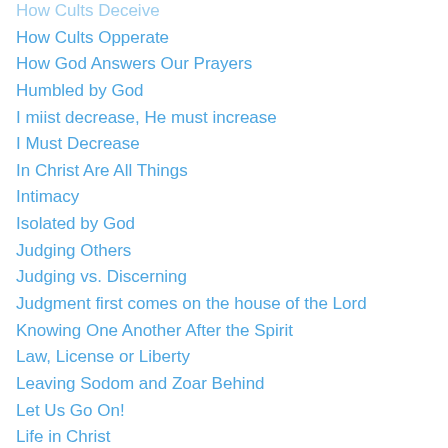How Cults Deceive
How Cults Opperate
How God Answers Our Prayers
Humbled by God
I miist decrease, He must increase
I Must Decrease
In Christ Are All Things
Intimacy
Isolated by God
Judging Others
Judging vs. Discerning
Judgment first comes on the house of the Lord
Knowing One Another After the Spirit
Law, License or Liberty
Leaving Sodom and Zoar Behind
Let Us Go On!
Life in Christ
Looking Unto Jesus Not Ourselves
Love
Loving Our Enemies